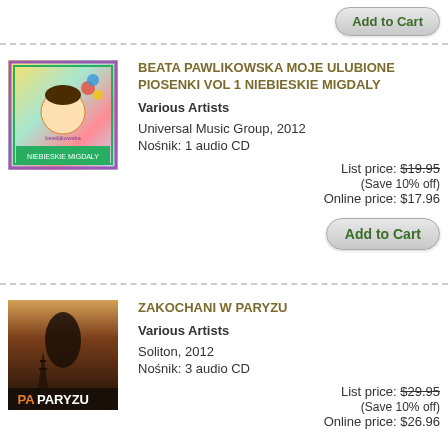[Figure (other): Partially visible Add to Cart button at top of page]
BEATA PAWLIKOWSKA MOJE ULUBIONE PIOSENKI VOL 1 NIEBIESKIE MIGDALY
Various Artists
Universal Music Group, 2012
Nośnik: 1 audio CD
List price: $19.95 (Save 10% off) Online price: $17.96
Add to Cart
ZAKOCHANI W PARYZU
Various Artists
Soliton, 2012
Nośnik: 3 audio CD
List price: $29.95 (Save 10% off) Online price: $26.96